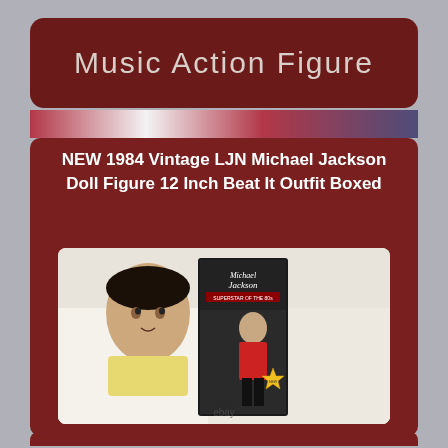Music Action Figure
NEW 1984 Vintage LJN Michael Jackson Doll Figure 12 Inch Beat It Outfit Boxed
[Figure (photo): Photo of a 1984 LJN Michael Jackson 12-inch doll figure in original box, showing the Beat It outfit. The box features Michael Jackson branding with 'Superstar of the 80s' text. The figure wears a red jacket. Displayed on a white background with an eBay watermark.]